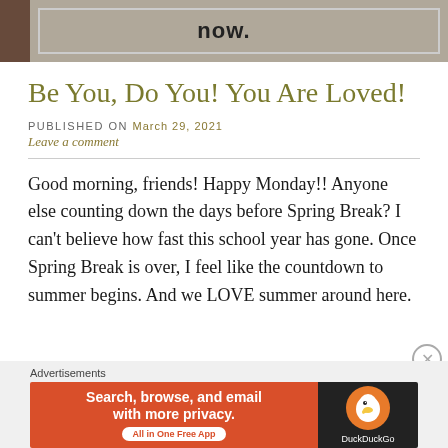[Figure (photo): Top portion of a blog page header image showing the word 'now.' in bold text on a light background, with a dark left edge.]
Be You, Do You! You Are Loved!
PUBLISHED ON March 29, 2021
Leave a comment
Good morning, friends! Happy Monday!! Anyone else counting down the days before Spring Break? I can't believe how fast this school year has gone. Once Spring Break is over, I feel like the countdown to summer begins. And we LOVE summer around here.
[Figure (screenshot): DuckDuckGo advertisement banner: orange left panel with text 'Search, browse, and email with more privacy. All in One Free App' and dark right panel with DuckDuckGo logo.]